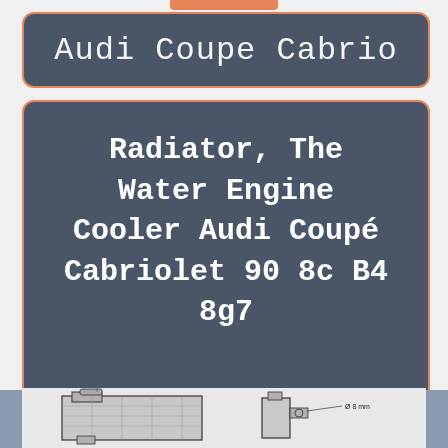Audi Coupe Cabrio
Radiator, The Water Engine Cooler Audi Coupé Cabriolet 90 8c B4 8g7
[Figure (engineering-diagram): Technical engineering diagram of a radiator/water engine cooler unit showing front and side views with diameter measurement annotation of Ø8mm]